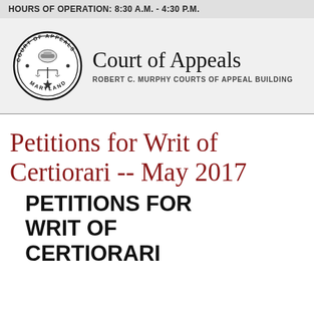HOURS OF OPERATION: 8:30 A.M. - 4:30 P.M.
[Figure (logo): Seal of the Court of Appeals of Maryland — circular seal with scales of justice, handshake, and star, text reading COURT OF APPEALS MARYLAND]
Court of Appeals
ROBERT C. MURPHY COURTS OF APPEAL BUILDING
Petitions for Writ of Certiorari -- May 2017
PETITIONS FOR WRIT OF CERTIORARI